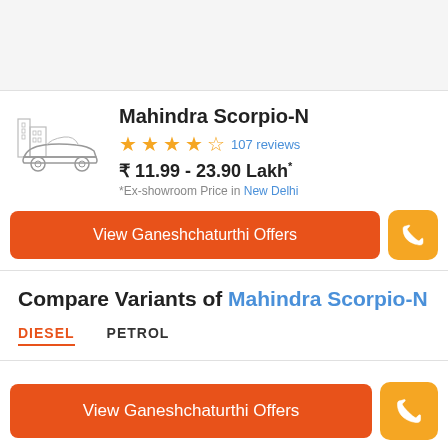[Figure (illustration): Light gray top banner area, screenshot header region]
Mahindra Scorpio-N
★★★★½ 107 reviews
₹ 11.99 - 23.90 Lakh*
*Ex-showroom Price in New Delhi
View Ganeshchaturthi Offers
Compare Variants of Mahindra Scorpio-N
DIESEL   PETROL
View Ganeshchaturthi Offers